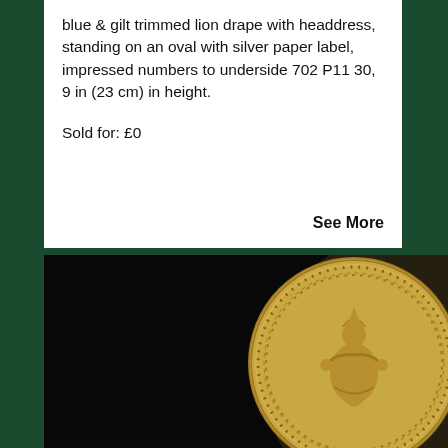blue & gilt trimmed lion drape with headdress, standing on an oval with silver paper label, impressed numbers to underside 702 P11 30, 9 in (23 cm) in height.
Sold for: £0
See More
[Figure (photo): A circular gold/brass medallion or button with a relief figure of a seated deity or figure with headdress, on a black background.]
Privacy · Terms